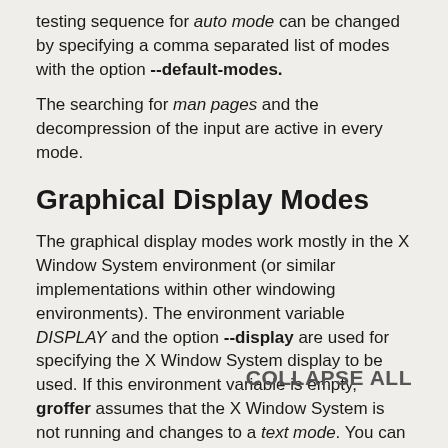testing sequence for auto mode can be changed by specifying a comma separated list of modes with the option --default-modes.
The searching for man pages and the decompression of the input are active in every mode.
Graphical Display Modes
The graphical display modes work mostly in the X Window System environment (or similar implementations within other windowing environments). The environment variable DISPLAY and the option --display are used for specifying the X Window System display to be used. If this environment variable is empty, groffer assumes that the X Window System is not running and changes to a text mode. You can change this automatic behavior by the option --default-modes.
Known viewers for the graphical display modes and their standard X Window System
COLLAPSE ALL
in a PDF viewer